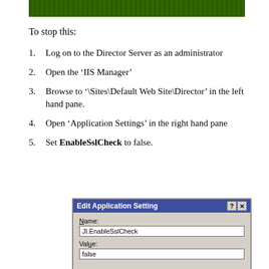[Figure (screenshot): Green dotted/striped banner bar at the top of the page]
To stop this:
Log on to the Director Server as an administrator
Open the ‘IIS Manager’
Browse to ‘\Sites\Default Web Site\Director’ in the left hand pane.
Open ‘Application Settings’ in the right hand pane
Set EnableSslCheck to false.
[Figure (screenshot): Windows dialog box titled 'Edit Application Setting' with Name field showing 'JI.EnableSslCheck' and Value field showing 'false', with OK and Cancel buttons]